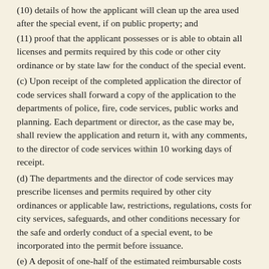(10) details of how the applicant will clean up the area used after the special event, if on public property; and
(11) proof that the applicant possesses or is able to obtain all licenses and permits required by this code or other city ordinance or by state law for the conduct of the special event.
(c) Upon receipt of the completed application the director of code services shall forward a copy of the application to the departments of police, fire, code services, public works and planning. Each department or director, as the case may be, shall review the application and return it, with any comments, to the director of code services within 10 working days of receipt.
(d) The departments and the director of code services may prescribe licenses and permits required by other city ordinances or applicable law, restrictions, regulations, costs for city services, safeguards, and other conditions necessary for the safe and orderly conduct of a special event, to be incorporated into the permit before issuance.
(e) A deposit of one-half of the estimated reimbursable costs required to be paid to the city as a result of a special event